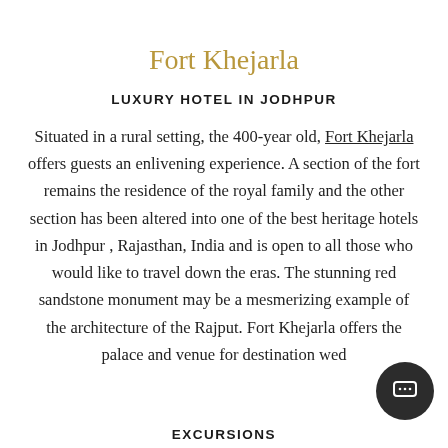Fort Khejarla
LUXURY HOTEL IN JODHPUR
Situated in a rural setting, the 400-year old, Fort Khejarla offers guests an enlivening experience. A section of the fort remains the residence of the royal family and the other section has been altered into one of the best heritage hotels in Jodhpur , Rajasthan, India and is open to all those who would like to travel down the eras. The stunning red sandstone monument may be a mesmerizing example of the architecture of the Rajput. Fort Khejarla offers the palace and venue for destination wed
EXCURSIONS